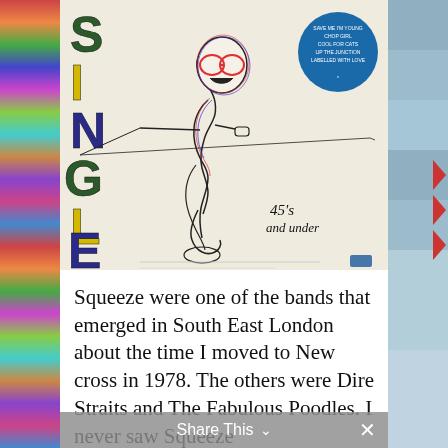[Figure (photo): A vinyl album cover for 'Singles 45s and Under' by Squeeze. The cover shows a hand-drawn cartoon figure of a nerdy character with large glasses holding a fishing rod, rendered in a loose sketch style with color outlines in red, blue and black. The word 'SINGLES' runs vertically in large bold letters on the left side in alternating green, yellow, and blue colors. A blue circular sticker is in the upper right corner listing song titles. The text '45's and under' is handwritten in the lower right of the album.]
Squeeze were one of the bands that emerged in South East London about the time I moved to New cross in 1978. The others were Dire Straits and The Fabulous Poodles. I never saw Squeeze